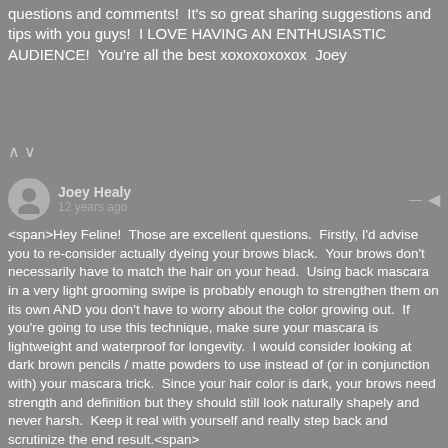questions and comments!  It's so great sharing suggestions and tips with you guys!  I LOVE HAVING AN ENTHUSIASTIC AUDIENCE!  You're all the best xoxoxoxoxox  Joey
Joey Healy
12 years ago
<span>Hey Feline!  Those are excellent questions.  Firstly, I'd advise you to re-consider actually dyeing your brows black.  Your brows don't necessarily have to match the hair on your head.  Using back mascara in a very light grooming swipe is probably enough to strengthen them on its own AND you don't have to worry about the color growing out.  If you're going to use this technique, make sure your mascara is lightweight and waterproof for longevity.  I would consider looking at dark brown pencils / matte powders to use instead of (or in conjunction with) your mascara trick.  Since your hair color is dark, your brows need strength and definition but they should still look naturally shapely and never harsh.  Keep it real with yourself and really step back and scrutinize the end result.<span>
</span>Experiment.  Once you get down a system, it will be quick work in the morning.  Thanks for reading Feline!  Hope I've